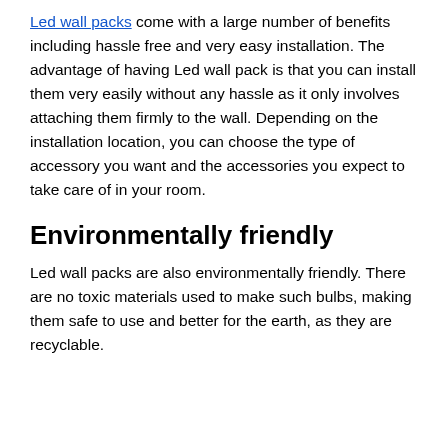Led wall packs come with a large number of benefits including hassle free and very easy installation. The advantage of having Led wall pack is that you can install them very easily without any hassle as it only involves attaching them firmly to the wall. Depending on the installation location, you can choose the type of accessory you want and the accessories you expect to take care of in your room.
Environmentally friendly
Led wall packs are also environmentally friendly. There are no toxic materials used to make such bulbs, making them safe to use and better for the earth, as they are recyclable.